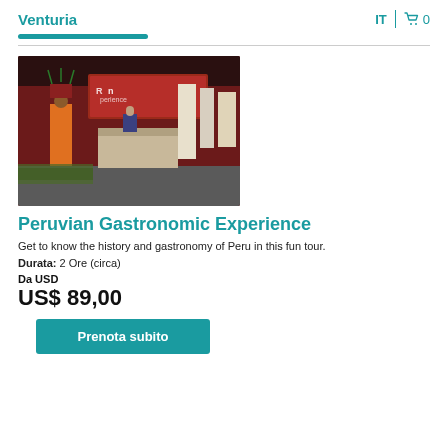Venturia   IT  0
[Figure (photo): Interior of a Peruvian cultural experience venue, showing a person in traditional Andean costume standing next to a reception desk with red-lit signage reading 'Peruvian Experience' and exhibition panels in the background.]
Peruvian Gastronomic Experience
Get to know the history and gastronomy of Peru in this fun tour.
Durata: 2 Ore (circa)
Da USD
US$ 89,00
Prenota subito